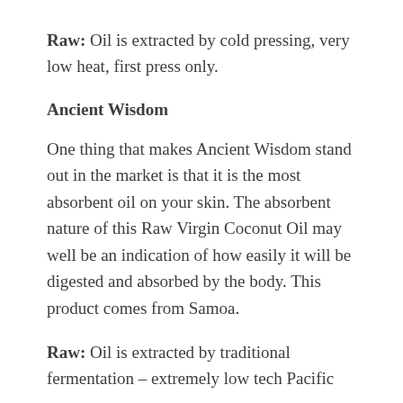Raw: Oil is extracted by cold pressing, very low heat, first press only.
Ancient Wisdom
One thing that makes Ancient Wisdom stand out in the market is that it is the most absorbent oil on your skin. The absorbent nature of this Raw Virgin Coconut Oil may well be an indication of how easily it will be digested and absorbed by the body. This product comes from Samoa.
Raw: Oil is extracted by traditional fermentation – extremely low tech Pacific